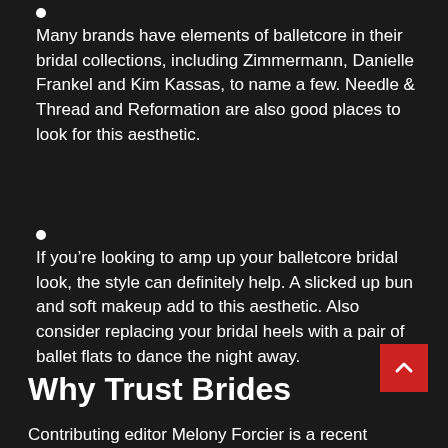Many brands have elements of balletcore in their bridal collections, including Zimmermann, Danielle Frankel and Kim Kassas, to name a few. Needle & Thread and Reformation are also good places to look for this aesthetic.
If you’re looking to amp up your balletcore bridal look, the style can definitely help. A slicked up bun and soft makeup add to this aesthetic. Also consider replacing your bridal heels with a pair of ballet flats to dance the night away.
Why Trust Brides
Contributing editor Melony Forcier is a recent